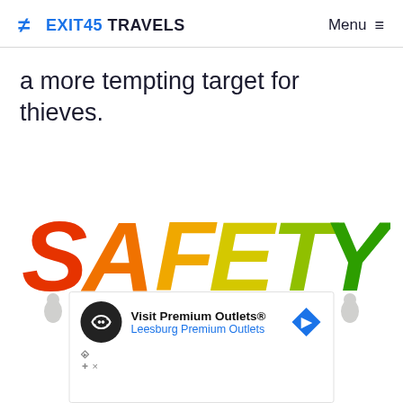Exit45 Travels   Menu
a more tempting target for thieves.
[Figure (illustration): Colorful 3D cartoon figures holding up large letters spelling SAFETY in rainbow colors (red S, orange A, yellow-orange F, yellow E, yellow-green T, green Y), each letter carried by a small white humanoid figure.]
[Figure (screenshot): Advertisement banner: Visit Premium Outlets® Leesburg Premium Outlets, with Premium Outlets circular logo and a blue diamond navigation arrow icon.]